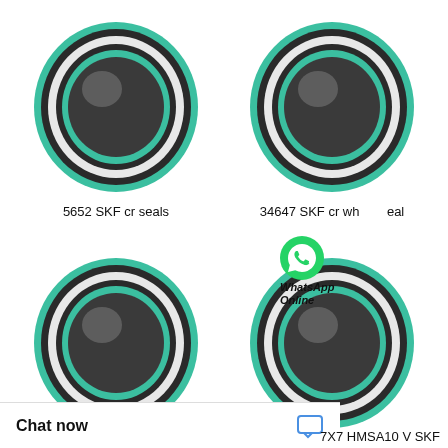[Figure (photo): SKF cr seal ring with teal/green outer edge and dark grey body, top-left position. Product: 5652 SKF cr seals]
5652 SKF cr seals
[Figure (photo): SKF cr wheel seal ring with teal/green outer edge and dark grey body, top-right position. Product: 34647 SKF cr wheel seal]
34647 SKF cr wheel seal
[Figure (photo): SKF cr seal ring with teal/green outer edge and dark grey body, bottom-left position.]
[Figure (photo): SKF HMSA10 V seal ring with teal/green outer edge and dark grey body, bottom-right position. Product: 7X7 HMSA10 V SKF]
7X7 HMSA10 V SKF
WhatsApp Online
Chat now